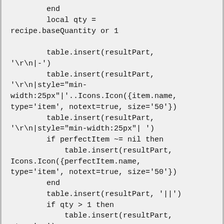end
        local qty =
recipe.baseQuantity or 1

        table.insert(resultPart,
'\r\n|-')
        table.insert(resultPart,
'\r\n|style="min-width:25px"|'..Icons.Icon({item.name,
type='item', notext=true, size='50'})
        table.insert(resultPart,
'\r\n|style="min-width:25px"| ')
        if perfectItem ~= nil then
            table.insert(resultPart,
Icons.Icon({perfectItem.name,
type='item', notext=true, size='50'})
        end
        table.insert(resultPart, '||')
        if qty > 1 then
            table.insert(resultPart,
qty..'x ')
        end